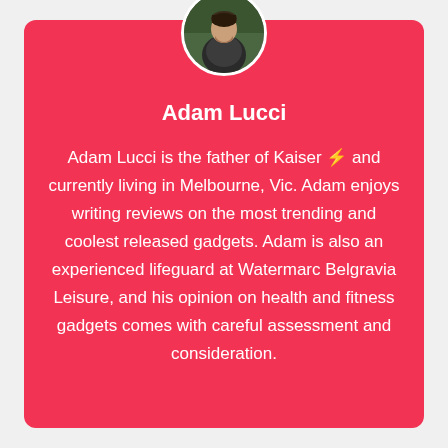[Figure (photo): Circular profile photo of Adam Lucci, a man photographed outdoors in a wooded setting, wearing a dark hoodie, looking downward.]
Adam Lucci
Adam Lucci is the father of Kaiser ⚡ and currently living in Melbourne, Vic. Adam enjoys writing reviews on the most trending and coolest released gadgets. Adam is also an experienced lifeguard at Watermarc Belgravia Leisure, and his opinion on health and fitness gadgets comes with careful assessment and consideration.